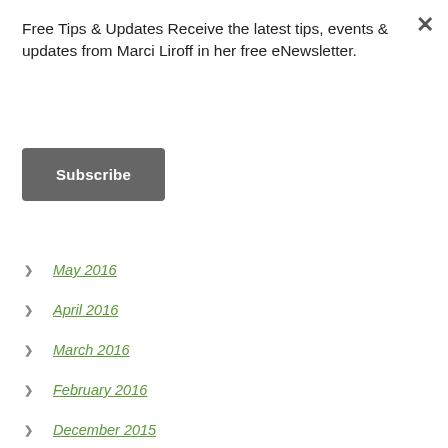Free Tips & Updates Receive the latest tips, events & updates from Marci Liroff in her free eNewsletter.
Subscribe
May 2016
April 2016
March 2016
February 2016
December 2015
November 2015
October 2015
September 2015
August 2015
July 2015
June 2015
May 2015
April 2015